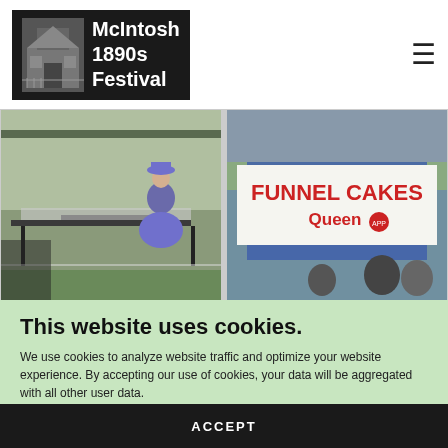[Figure (logo): McIntosh 1890s Festival logo with historical building image and white text on black background]
[Figure (photo): Two festival photos side by side: left shows woman in purple Victorian dress at outdoor market stall; right shows Funnel Cakes Queen sign at a blue tent with people nearby]
This website uses cookies.
We use cookies to analyze website traffic and optimize your website experience. By accepting our use of cookies, your data will be aggregated with all other user data.
ACCEPT